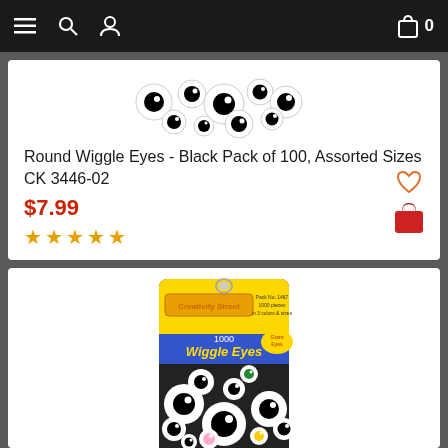Navigation bar with menu, search, profile, cart (0)
[Figure (photo): Round wiggle eyes - black assorted sizes, pile of googly eyes]
Round Wiggle Eyes - Black Pack of 100, Assorted Sizes CK 3446-02
$7.99
★★★★★
[Figure (photo): Creativity Street 1000 Wiggle Eyes package - colorful assorted googly eyes in a blue and yellow package]